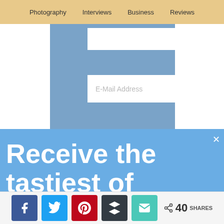Photography | Interviews | Business | Reviews
[Figure (screenshot): Form area with blue background and E-Mail Address input field placeholder]
Receive the tastiest of Tiffinbox Treats. Yum!!
Be the first to know about the latest interviews with industry leaders who will help you make an impact.
[Figure (infographic): Social share bar with Facebook, Twitter, Pinterest, Buffer, and Email buttons, plus a share count of 40 SHARES]